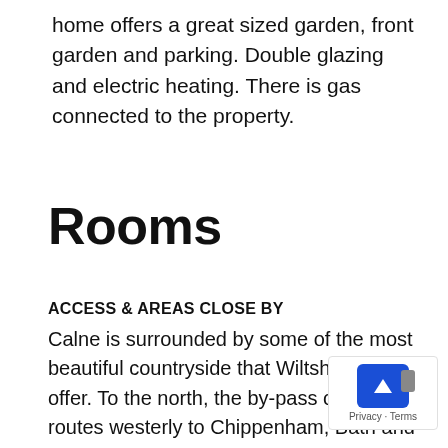home offers a great sized garden, front garden and parking. Double glazing and electric heating. There is gas connected to the property.
Rooms
ACCESS & AREAS CLOSE BY
Calne is surrounded by some of the most beautiful countryside that Wiltshire has to offer. To the north, the by-pass offers routes westerly to Chippenham, Bath and the M4 westbound. To the north is Lyneham, Royal Wootton Basset, Swindon and M4 eastbound to London. The centre of Calne has a